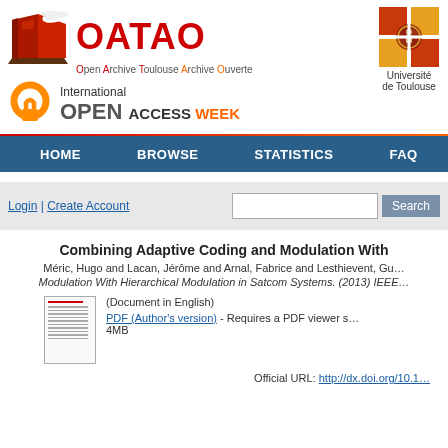[Figure (logo): OATAO - Open Archive Toulouse Archive Ouverte logo with red book and open access week badge]
[Figure (logo): Université de Toulouse logo - colored squares grid with seal]
HOME  BROWSE  STATISTICS  FAQ
Login | Create Account  [Search box] Search
Combining Adaptive Coding and Modulation With
Méric, Hugo and Lacan, Jérôme and Arnal, Fabrice and Lesthievent, Gu... Modulation With Hierarchical Modulation in Satcom Systems. (2013) IEEE
[Figure (screenshot): Thumbnail of PDF document]
(Document in English)
PDF (Author's version) - Requires a PDF viewer s... 4MB
Official URL: http://dx.doi.org/10.1...